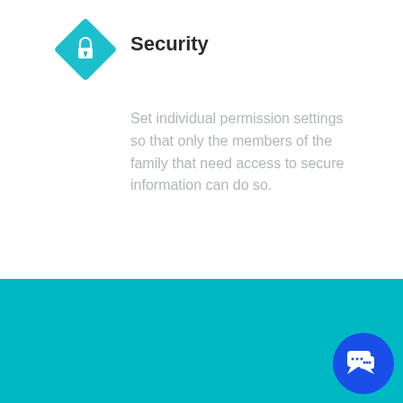[Figure (illustration): Teal diamond-shaped icon with a white padlock symbol in the center]
Security
Set individual permission settings so that only the members of the family that need access to secure information can do so.
Elivelihood Plans
[Figure (illustration): Blue circular chat/messaging button in bottom right corner]